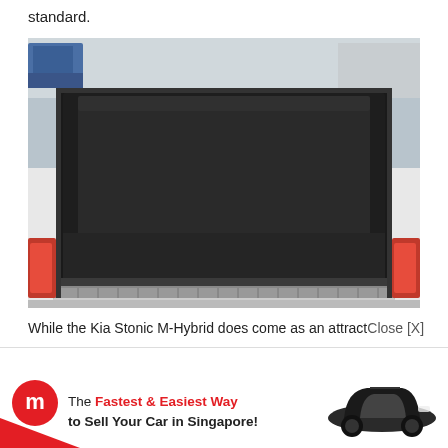standard.
[Figure (photo): Open trunk/boot of a Kia Stonic showing the empty cargo area with dark interior lining, viewed from behind with the tailgate lifted. The car is white and the badge reads 'STON...' (Stonic).]
While the Kia Stonic M-Hybrid does come as an attract Close [X]
[Figure (infographic): Advertisement banner for Motorist.sg: logo (red circular 'm'), text 'The Fastest & Easiest Way to Sell Your Car in Singapore!', and an image of a dark compact hatchback car on the right side.]